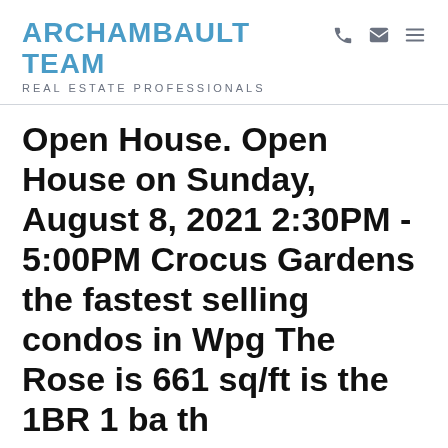ARCHAMBAULT TEAM REAL ESTATE PROFESSIONALS
Open House. Open House on Sunday, August 8, 2021 2:30PM - 5:00PM Crocus Gardens the fastest selling condos in Wpg The Rose is 661 sq/ft is the 1BR 1 ba th...